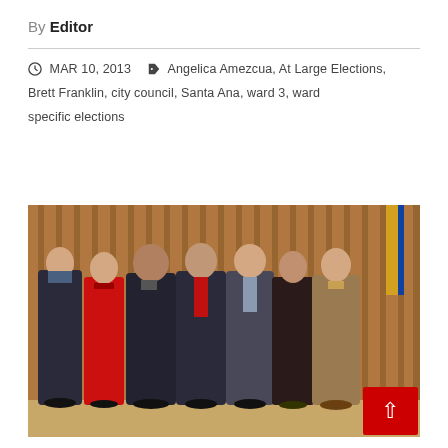By Editor
MAR 10, 2013   Angelica Amezcua, At Large Elections, Brett Franklin, city council, Santa Ana, ward 3, ward specific elections
[Figure (photo): Group photo of seven people (city council members) standing in a row in a formal council chamber with wood-paneled walls. One woman is wearing a red suit, others are in dark business suits. There is a red back-to-top button in the bottom-right corner of the image.]